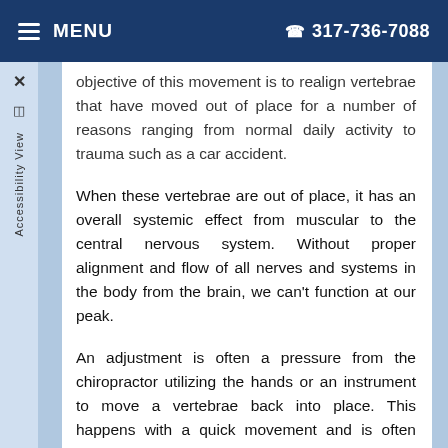≡ MENU   317-736-7088
objective of this movement is to realign vertebrae that have moved out of place for a number of reasons ranging from normal daily activity to trauma such as a car accident.
When these vertebrae are out of place, it has an overall systemic effect from muscular to the central nervous system. Without proper alignment and flow of all nerves and systems in the body from the brain, we can't function at our peak.
An adjustment is often a pressure from the chiropractor utilizing the hands or an instrument to move a vertebrae back into place. This happens with a quick movement and is often without discomfort. You may hear a noise that